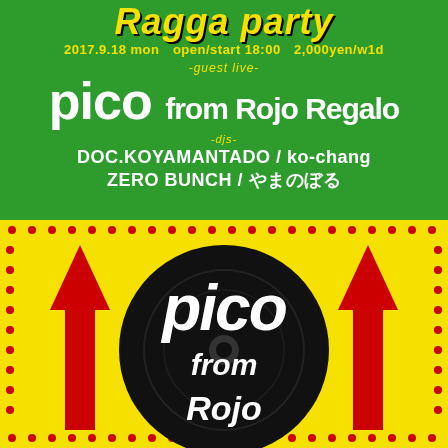Ragga party
2017.9.18 mon open/start 18:00 2,000yen/w1d
-guest live-
pico from Rojo Regalo
-djs-
DOC.KOYAMANTADO / ko-chang
ZERO BUNCH / やまのぼる
[Figure (illustration): Yellow background with red upward arrows and a large black vinyl record circle. White and black stylized text reads 'pico from Rojo' in graffiti/reggae style lettering. Red dot border pattern surrounds the edges.]